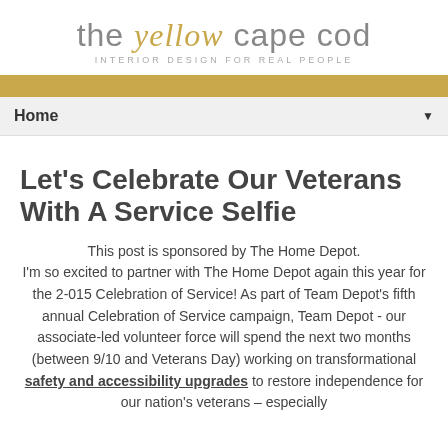the yellow cape cod — INTERIOR DESIGN FOR REAL PEOPLE
Let's Celebrate Our Veterans With A Service Selfie
This post is sponsored by The Home Depot. I'm so excited to partner with The Home Depot again this year for the 2-015 Celebration of Service! As part of Team Depot's fifth annual Celebration of Service campaign, Team Depot - our associate-led volunteer force will spend the next two months (between 9/10 and Veterans Day) working on transformational safety and accessibility upgrades to restore independence for our nation's veterans – especially